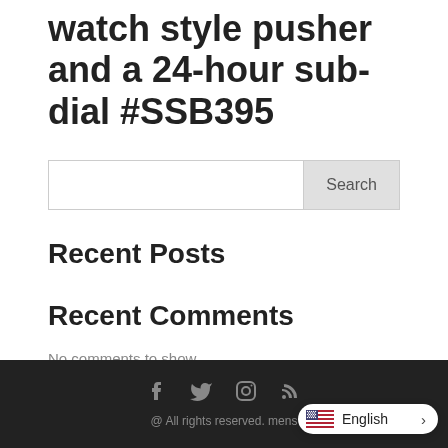watch style pusher and a 24-hour sub-dial #SSB395
Search
Recent Posts
Recent Comments
No comments to show.
@ All rights reserved. mens...